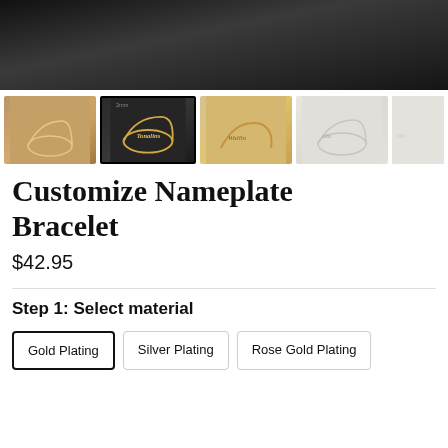[Figure (photo): Main product photo showing a gold nameplate bracelet on dark background]
[Figure (photo): Thumbnail gallery row showing 5 product images of customize nameplate bracelet in various views and metal finishes]
Customize Nameplate Bracelet
$42.95
Step 1: Select material
Gold Plating
Silver Plating
Rose Gold Plating